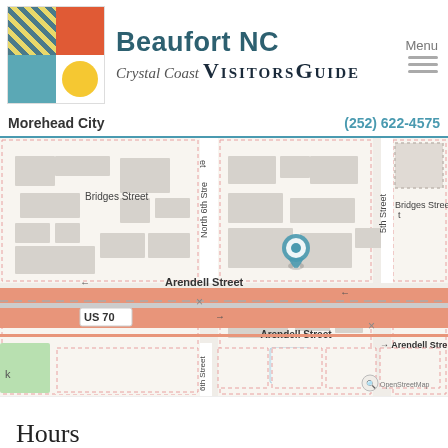[Figure (logo): Beaufort NC Crystal Coast Visitors Guide logo with colorful quadrant icon]
Beaufort NC Crystal Coast VisitorsGuide
Morehead City  (252) 622-4575
[Figure (map): Street map showing Beaufort NC area with Arendell Street / US 70 running east-west, North 6th Street running north-south, Bridges Street, 5th Street, and a blue location pin marker. Map shows building footprints, a parking sign (P), and OpenStreetMap attribution.]
Hours